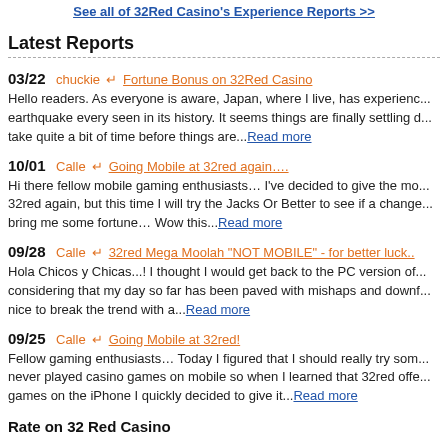See all of 32Red Casino's Experience Reports >>
Latest Reports
03/22  chuckie — Fortune Bonus on 32Red Casino
Hello readers. As everyone is aware, Japan, where I live, has experienced the largest earthquake every seen in its history. It seems things are finally settling d... take quite a bit of time before things are...Read more
10/01  Calle — Going Mobile at 32red again….
Hi there fellow mobile gaming enthusiasts… I've decided to give the mo... 32red again, but this time I will try the Jacks Or Better to see if a change... bring me some fortune… Wow this...Read more
09/28  Calle — 32red Mega Moolah "NOT MOBILE" - for better luck..
Hola Chicos y Chicas...! I thought I would get back to the PC version of... considering that my day so far has been paved with mishaps and downf... nice to break the trend with a...Read more
09/25  Calle — Going Mobile at 32red!
Fellow gaming enthusiasts… Today I figured that I should really try som... never played casino games on mobile so when I learned that 32red offe... games on the iPhone I quickly decided to give it...Read more
Rate on 32 Red Casino